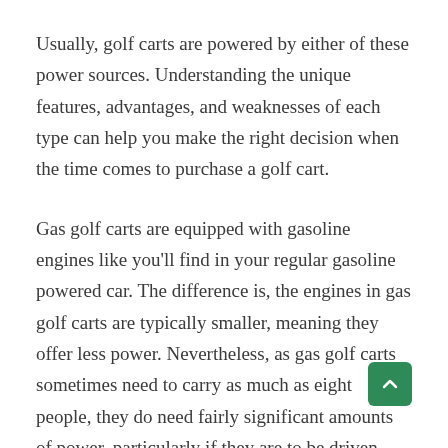Usually, golf carts are powered by either of these power sources. Understanding the unique features, advantages, and weaknesses of each type can help you make the right decision when the time comes to purchase a golf cart.
Gas golf carts are equipped with gasoline engines like you'll find in your regular gasoline powered car. The difference is, the engines in gas golf carts are typically smaller, meaning they offer less power. Nevertheless, as gas golf carts sometimes need to carry as much as eight people, they do need fairly significant amounts of power, particularly if they are to be driven over uneven land.
The beginning of the next paragraph is cut off at the bottom.